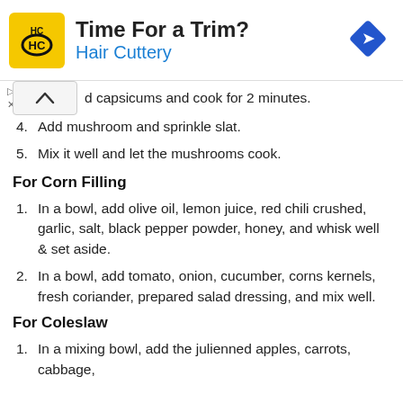[Figure (other): Advertisement banner for Hair Cuttery with logo, text 'Time For a Trim?' and 'Hair Cuttery', and a blue navigation diamond icon]
...d capsicums and cook for 2 minutes.
4. Add mushroom and sprinkle slat.
5. Mix it well and let the mushrooms cook.
For Corn Filling
1. In a bowl, add olive oil, lemon juice, red chili crushed, garlic, salt, black pepper powder, honey, and whisk well & set aside.
2. In a bowl, add tomato, onion, cucumber, corns kernels, fresh coriander, prepared salad dressing, and mix well.
For Coleslaw
1. In a mixing bowl, add the julienned apples, carrots, cabbage,